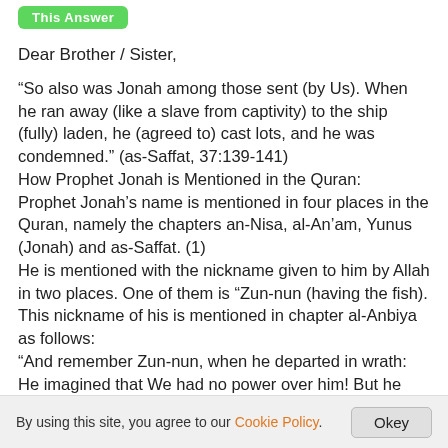[Figure (other): Green button labeled 'This Answer' (partially visible at top)]
Dear Brother / Sister,
“So also was Jonah among those sent (by Us). When he ran away (like a slave from captivity) to the ship (fully) laden, he (agreed to) cast lots, and he was condemned.” (as-Saffat, 37:139-141)
How Prophet Jonah is Mentioned in the Quran:
Prophet Jonah’s name is mentioned in four places in the Quran, namely the chapters an-Nisa, al-An’am, Yunus (Jonah) and as-Saffat. (1)
He is mentioned with the nickname given to him by Allah in two places. One of them is “Zun-nun (having the fish). This nickname of his is mentioned in chapter al-Anbiya as follows:
“And remember Zun-nun, when he departed in wrath: He imagined that We had no power over him! But he cried through the depths of darkness, “There is no god but thou: glory to thee: I was indeed wrong! So We listened to him:
By using this site, you agree to our Cookie Policy.   Okey